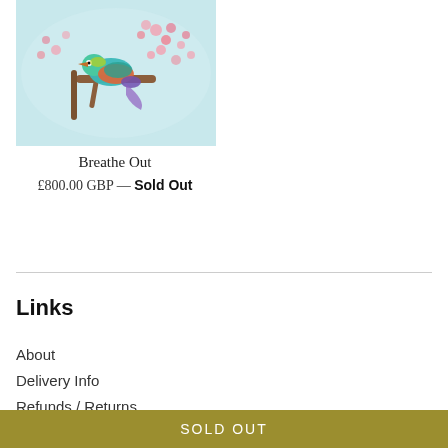[Figure (illustration): Colorful painting of a bird (kingfisher) perched on a branch with pink berries/cherry blossoms on a light blue background]
Breathe Out
£800.00 GBP — Sold Out
Links
About
Delivery Info
Refunds / Returns
SOLD OUT